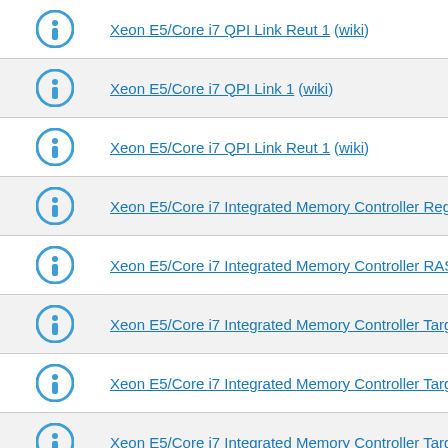Xeon E5/Core i7 QPI Link Reut 1 (wiki)
Xeon E5/Core i7 QPI Link 1 (wiki)
Xeon E5/Core i7 QPI Link Reut 1 (wiki)
Xeon E5/Core i7 Integrated Memory Controller Registers (wiki)
Xeon E5/Core i7 Integrated Memory Controller RAS Registers (wi…)
Xeon E5/Core i7 Integrated Memory Controller Target Address De…
Xeon E5/Core i7 Integrated Memory Controller Target Address De…
Xeon E5/Core i7 Integrated Memory Controller Target Address De…
Xeon E5/Core i7 Integrated Memory Controller Target Address De…
Xeon E5/Core i7 Integrated Memory Controller Target Address De…
Xeon E5/Core i7 Power Control Unit 3 (wiki)
Xeon E5/Core i7 Integrated Memory Controller Channel 0-3 Therm…
Xeon E5/Core i7 Integrated Memory Controller Channel 0-3 Therm…
Xeon E5/Core i7 Integrated Memory Controller ERROR Registers…
Xeon E5/Core i7 Integrated Memory Controller ERROR Registers…